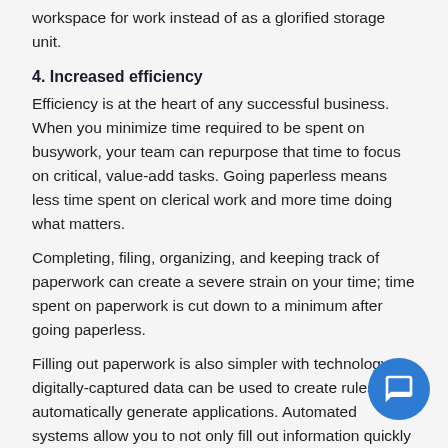workspace for work instead of as a glorified storage unit.
4. Increased efficiency
Efficiency is at the heart of any successful business. When you minimize time required to be spent on busywork, your team can repurpose that time to focus on critical, value-add tasks. Going paperless means less time spent on clerical work and more time doing what matters.
Completing, filing, organizing, and keeping track of paperwork can create a severe strain on your time; time spent on paperwork is cut down to a minimum after going paperless.
Filling out paperwork is also simpler with technology; digitally-captured data can be used to create rules to automatically generate applications. Automated systems allow you to not only fill out information quickly but reliably as well, as validation algorithms reduce errors and ensure compl
5. Reduced costs